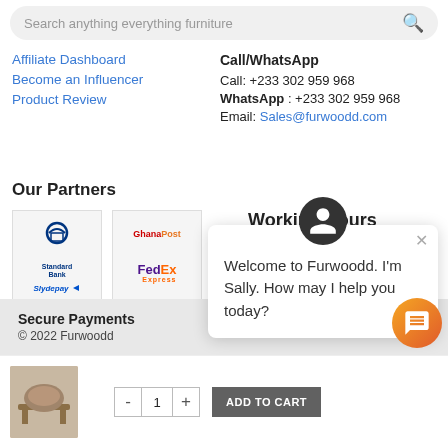Search anything everything furniture
Affiliate Dashboard
Become an Influencer
Product Review
Call/WhatsApp
Call: +233 302 959 968
WhatsApp : +233 302 959 968
Email: Sales@furwoodd.com
Our Partners
[Figure (logo): Standard Bank logo]
[Figure (logo): GhanaPost and FedEx logos]
Working Hours
Monday-Friday: 7am- 7pm
Saturday: 8am - 7pm
Sunday: 3pm - 7pm
Secure Payments
© 2022 Furwoodd
Welcome to Furwoodd. I'm Sally. How may I help you today?
- 1 + ADD TO CART